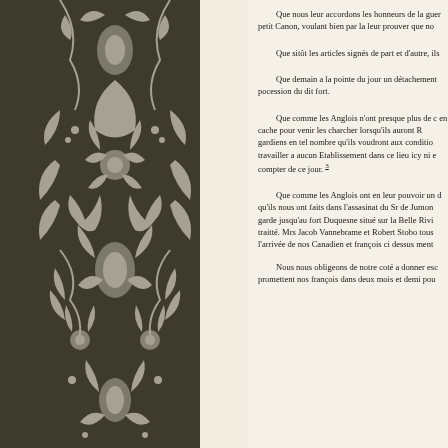Que nous leur accordons les honneurs de la guerre petit Canon, voulant bien par la leur prouver que no
Que sitôt les articles signés de part et d'autre, ils
Que demain a la pointe du jour un détachement pocession du dit fort.
Que comme les Anglois n'ont presque plus de c en cache pour venir les charcher lorsqu'ils auront R gardiens en tel nombre qu'ils voudront aux conditio travailler a aucun Etablissement dans ce lieu icy ni e compter de ce jour. 3
Que comme les Anglois ont en leur pouvoir un d qu'ils nous ont faits dans l'assasinat du Sr de Jumon garde jusqu'au fort Duquesne situé sur la Belle Rivi traitté. Mrs Jacob Vannebrame et Robert Stobo tous l'arrivée de nos Canadien et françois ci dessus ment
Nous nous obligeons de notre coté a donner esc promettent nos françois dans deux mois et demi pou